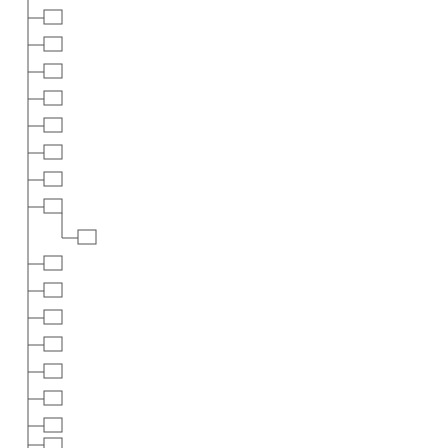[Figure (other): A vertical tree/outline structure with a vertical line on the left and horizontal tick marks leading to small rectangles (checkboxes or nodes) at regular intervals. One node near the middle has a child node connected by an L-shaped branch going to the right and down.]